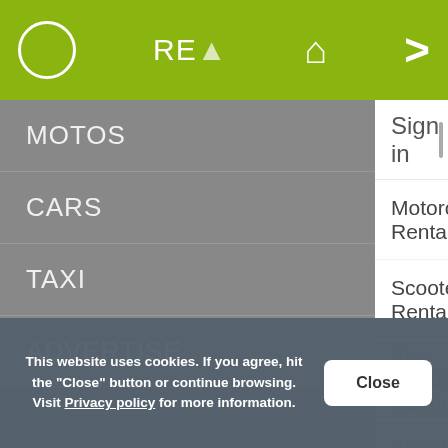[Figure (screenshot): Mobile app top navigation bar with green background, circle icon, RE text, home icon, and right arrow]
MOTOS
CARS
TAXI
ADVERTISE
Sign in
Motorcycle Rental
Scooter Rental
Atv-Quad Rental
Bicycle Rental
This website uses cookies. If you agree, hit the "Close" button or continue browsing. Visit Privacy policy for more information.